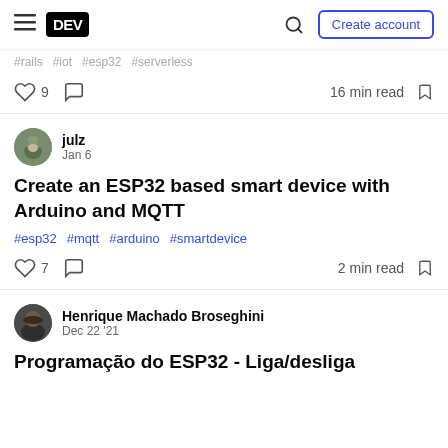DEV — Create account
#rails #iot #esp32 #serverless
♡ 9  ○  16 min read  bookmark
julz
Jan 6
Create an ESP32 based smart device with Arduino and MQTT
#esp32 #mqtt #arduino #smartdevice
♡ 7  ○  2 min read  bookmark
Henrique Machado Broseghini
Dec 22 '21
Programação do ESP32 - Liga/desliga